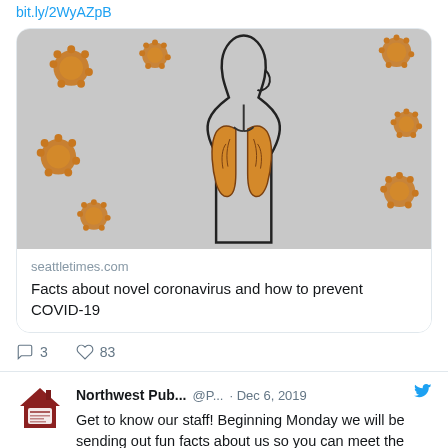bit.ly/2WyAZpB
[Figure (illustration): Illustration of a human torso showing lungs (orange/tan colored) surrounded by coronavirus particles (brown spiky spheres) on a gray background.]
seattletimes.com
Facts about novel coronavirus and how to prevent COVID-19
3  83
[Figure (logo): Northwest Public (news organization) logo - red/brown house with newspaper icon]
Northwest Pub... @P... · Dec 6, 2019
Get to know our staff! Beginning Monday we will be sending out fun facts about us so you can meet the people behind the stories.